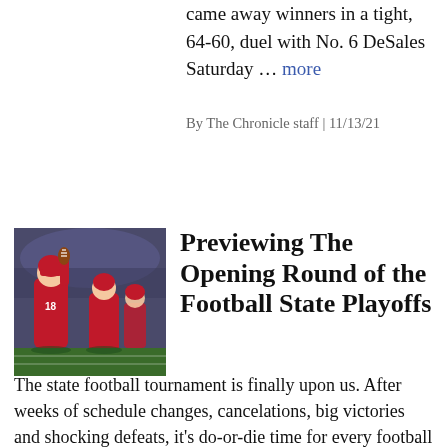came away winners in a tight, 64-60, duel with No. 6 DeSales Saturday … more
By The Chronicle staff | 11/13/21
[Figure (photo): Football players in red uniforms on a field, one player raising the ball]
Previewing The Opening Round of the Football State Playoffs
The state football tournament is finally upon us. After weeks of schedule changes, cancelations, big victories and shocking defeats, it's do-or-die time for every football team in the state … more